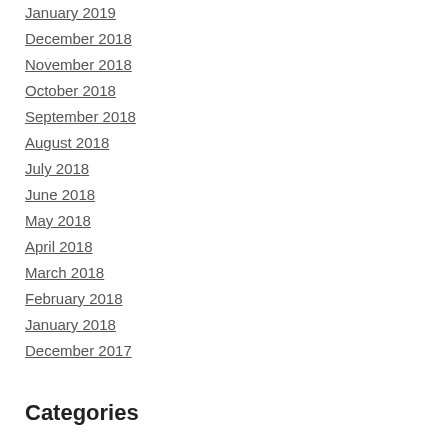January 2019
December 2018
November 2018
October 2018
September 2018
August 2018
July 2018
June 2018
May 2018
April 2018
March 2018
February 2018
January 2018
December 2017
Categories